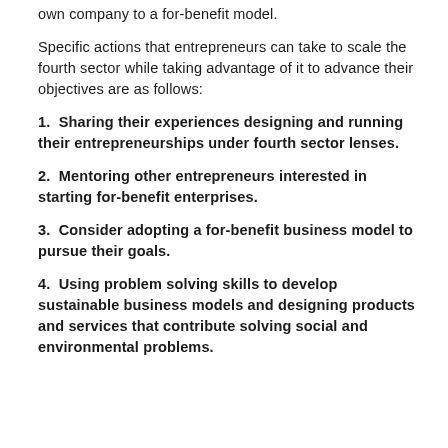own company to a for-benefit model.
Specific actions that entrepreneurs can take to scale the fourth sector while taking advantage of it to advance their objectives are as follows:
1.  Sharing their experiences designing and running their entrepreneurships under fourth sector lenses.
2.  Mentoring other entrepreneurs interested in starting for-benefit enterprises.
3.  Consider adopting a for-benefit business model to pursue their goals.
4.  Using problem solving skills to develop sustainable business models and designing products and services that contribute solving social and environmental problems.